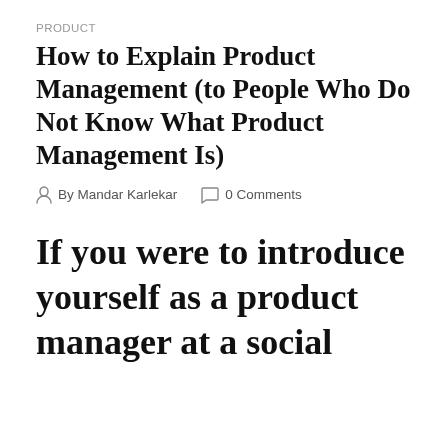PRODUCT
How to Explain Product Management (to People Who Do Not Know What Product Management Is)
By Mandar Karlekar   0 Comments
If you were to introduce yourself as a product manager at a social